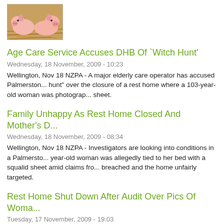[Figure (photo): Two small pink piglets sitting on straw/hay]
Age Care Service Accuses DHB Of `Witch Hunt'
Wednesday, 18 November, 2009 - 10:23
Wellington, Nov 18 NZPA - A major elderly care operator has accused Palmerston... hunt" over the closure of a rest home where a 103-year-old woman was photograp... sheet.
Family Unhappy As Rest Home Closed And Mother's D...
Wednesday, 18 November, 2009 - 08:34
Wellington, Nov 18 NZPA - Investigators are looking into conditions in a Palmersto... year-old woman was allegedly tied to her bed with a squalid sheet amid claims fro... breached and the home unfairly targeted.
Rest Home Shut Down After Audit Over Pics Of Woma...
Tuesday, 17 November, 2009 - 19:03
Wellington, Nov 17 NZPA - A Palmerston North rest home has been shut down aft... year-old woman tied to her bed with a sheet.